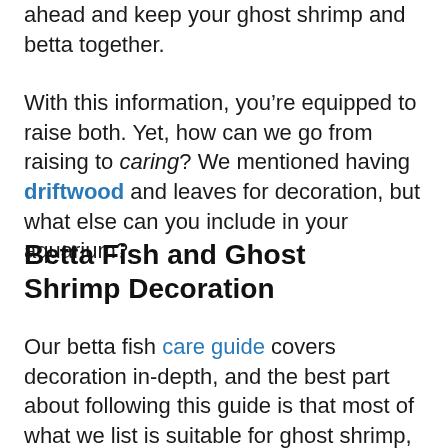ahead and keep your ghost shrimp and betta together.
With this information, you’re equipped to raise both. Yet, how can we go from raising to caring? We mentioned having driftwood and leaves for decoration, but what else can you include in your aquarium?
Betta Fish and Ghost Shrimp Decoration
Our betta fish care guide covers decoration in-depth, and the best part about following this guide is that most of what we list is suitable for ghost shrimp, too. For example, let’s talk about Marina Naturals Plant.